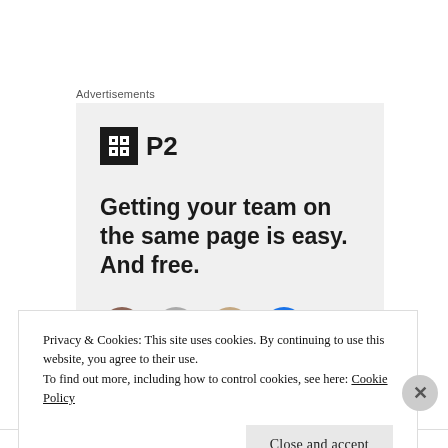Advertisements
[Figure (illustration): P2 advertisement with logo (dark square with grid icon and 'P2' text) and bold headline text 'Getting your team on the same page is easy. And free.' with circular avatar images at the bottom on a light gray background.]
Privacy & Cookies: This site uses cookies. By continuing to use this website, you agree to their use.
To find out more, including how to control cookies, see here: Cookie Policy